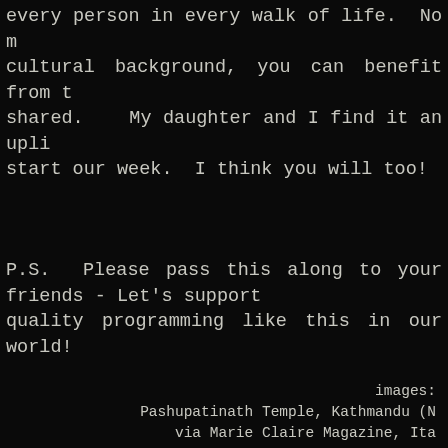every person in every walk of life.  No matter your cultural background, you can benefit from the wisdom shared.   My daughter and I find it an uplifting way to start our week.  I think you will too!
P.S.  Please pass this along to your friends - Let's support quality programming like this in our world!
images:
Pashupatinath Temple, Kathmandu (N
via Marie Claire Magazine, Ita